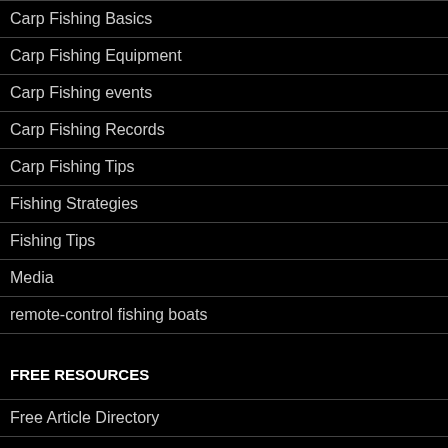Carp Fishing Basics
Carp Fishing Equipment
Carp Fishing events
Carp Fishing Records
Carp Fishing Tips
Fishing Strategies
Fishing Tips
Media
remote-control fishing boats
FREE RESOURCES
Free Article Directory